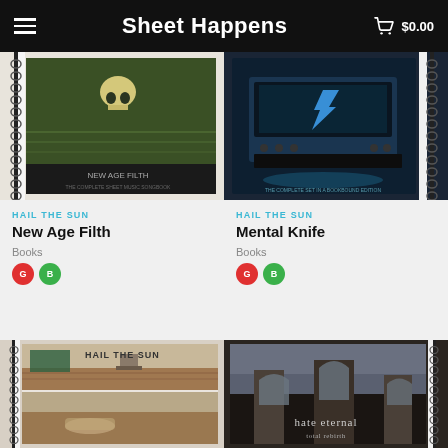Sheet Happens  $0.00
[Figure (photo): Spiral-bound music sheet book with illustrated cover art for 'New Age Filth' by Hail the Sun]
[Figure (photo): Spiral-bound music sheet book with dark blue electronic keyboard cover art for 'Mental Knife' by Hail the Sun]
HAIL THE SUN
New Age Filth
Books
HAIL THE SUN
Mental Knife
Books
[Figure (photo): Spiral-bound music sheet book with 'Hail the Sun' text and room/interior scene cover]
[Figure (photo): Spiral-bound music sheet book with gothic church architecture cover for 'Hate Eternal']